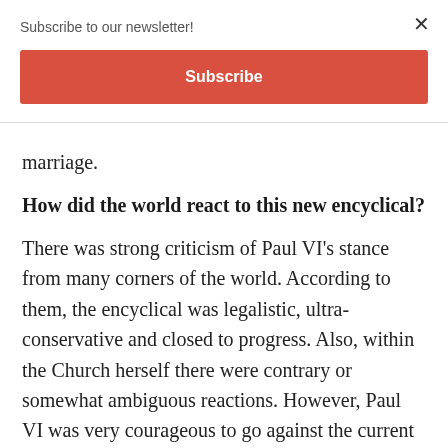Subscribe to our newsletter!
Subscribe
marriage.
How did the world react to this new encyclical?
There was strong criticism of Paul VI's stance from many corners of the world. According to them, the encyclical was legalistic, ultra-conservative and closed to progress. Also, within the Church herself there were contrary or somewhat ambiguous reactions. However, Paul VI was very courageous to go against the current of a world that aggressively imposed new stereotypes for a sexual life detached from commitment and love.